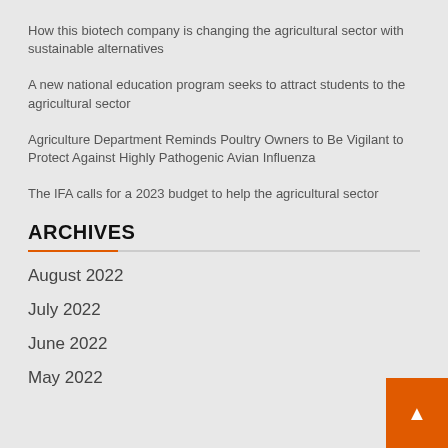How this biotech company is changing the agricultural sector with sustainable alternatives
A new national education program seeks to attract students to the agricultural sector
Agriculture Department Reminds Poultry Owners to Be Vigilant to Protect Against Highly Pathogenic Avian Influenza
The IFA calls for a 2023 budget to help the agricultural sector
ARCHIVES
August 2022
July 2022
June 2022
May 2022